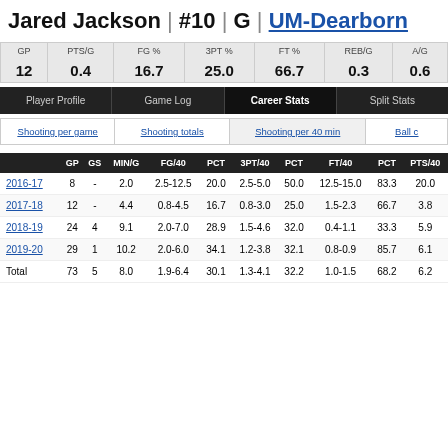Jared Jackson | #10 | G | UM-Dearborn
| GP | PTS/G | FG % | 3PT % | FT % | REB/G | A/G |
| --- | --- | --- | --- | --- | --- | --- |
| 12 | 0.4 | 16.7 | 25.0 | 66.7 | 0.3 | 0.6 |
Player Profile | Game Log | Career Stats | Split Stats
Shooting per game | Shooting totals | Shooting per 40 min | Ball co
|  | GP | GS | MIN/G | FG/40 | PCT | 3PT/40 | PCT | FT/40 | PCT | PTS/40 |
| --- | --- | --- | --- | --- | --- | --- | --- | --- | --- | --- |
| 2016-17 | 8 | - | 2.0 | 2.5-12.5 | 20.0 | 2.5-5.0 | 50.0 | 12.5-15.0 | 83.3 | 20.0 |
| 2017-18 | 12 | - | 4.4 | 0.8-4.5 | 16.7 | 0.8-3.0 | 25.0 | 1.5-2.3 | 66.7 | 3.8 |
| 2018-19 | 24 | 4 | 9.1 | 2.0-7.0 | 28.9 | 1.5-4.6 | 32.0 | 0.4-1.1 | 33.3 | 5.9 |
| 2019-20 | 29 | 1 | 10.2 | 2.0-6.0 | 34.1 | 1.2-3.8 | 32.1 | 0.8-0.9 | 85.7 | 6.1 |
| Total | 73 | 5 | 8.0 | 1.9-6.4 | 30.1 | 1.3-4.1 | 32.2 | 1.0-1.5 | 68.2 | 6.2 |